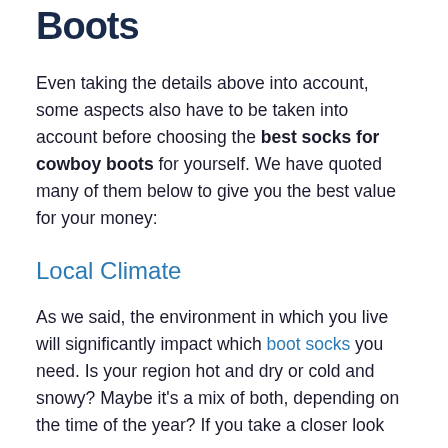Boots
Even taking the details above into account, some aspects also have to be taken into account before choosing the best socks for cowboy boots for yourself. We have quoted many of them below to give you the best value for your money:
Local Climate
As we said, the environment in which you live will significantly impact which boot socks you need. Is your region hot and dry or cold and snowy? Maybe it's a mix of both, depending on the time of the year? If you take a closer look